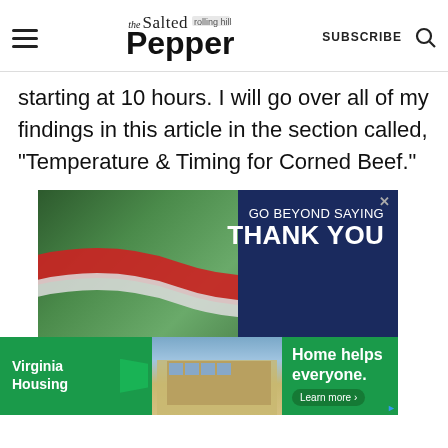the Salted Pepper | SUBSCRIBE
starting at 10 hours. I will go over all of my findings in this article in the section called, "Temperature & Timing for Corned Beef."
[Figure (photo): USAA advertisement: 'GO BEYOND SAYING THANK YOU' with two people talking against a patriotic red-white-blue ribbon background]
[Figure (photo): Virginia Housing advertisement: 'Home helps everyone. Learn more+' with green background and apartment building photo]